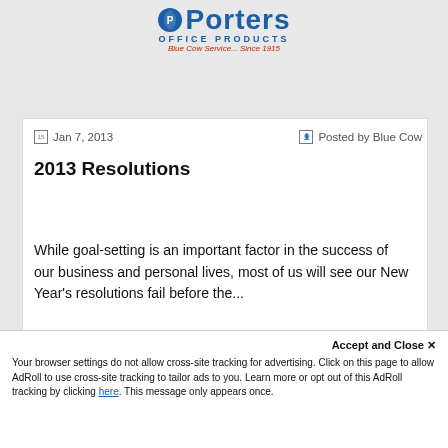[Figure (logo): Porter's Office Products logo with blue shield icon, blue text 'Porters OFFICE PRODUCTS', tagline 'Blue Cow Service... Since 1915']
Jan 7, 2013   Posted by Blue Cow
2013 Resolutions
While goal-setting is an important factor in the success of our business and personal lives, most of us will see our New Year's resolutions fail before the...
Accept and Close ✕
Your browser settings do not allow cross-site tracking for advertising. Click on this page to allow AdRoll to use cross-site tracking to tailor ads to you. Learn more or opt out of this AdRoll tracking by clicking here. This message only appears once.